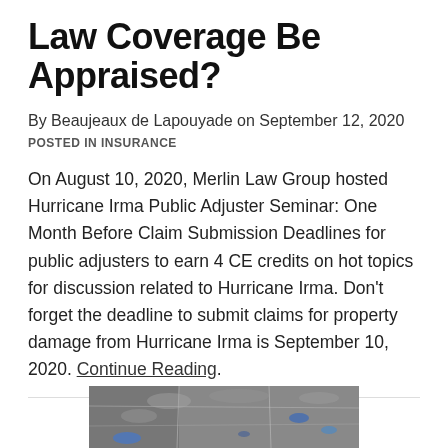Law Coverage Be Appraised?
By Beaujeaux de Lapouyade on September 12, 2020
POSTED IN INSURANCE
On August 10, 2020, Merlin Law Group hosted Hurricane Irma Public Adjuster Seminar: One Month Before Claim Submission Deadlines for public adjusters to earn 4 CE credits on hot topics for discussion related to Hurricane Irma. Don't forget the deadline to submit claims for property damage from Hurricane Irma is September 10, 2020. Continue Reading.
[Figure (photo): Satellite or weather map image showing storm/cloud coverage over a region, displayed in grayscale with blue highlights]